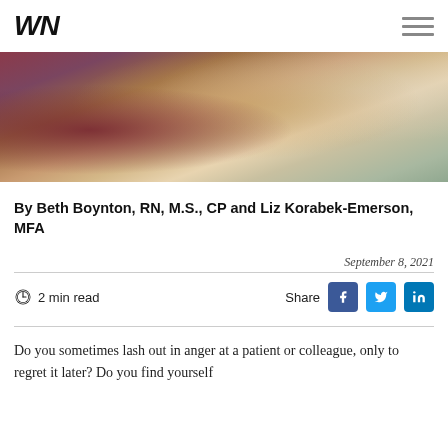WN
[Figure (photo): A doctor in a white coat with stethoscope holding hands with a patient in a compassionate consultation setting.]
By Beth Boynton, RN, M.S., CP and Liz Korabek-Emerson, MFA
September 8, 2021
2 min read
Share
Do you sometimes lash out in anger at a patient or colleague, only to regret it later? Do you find yourself